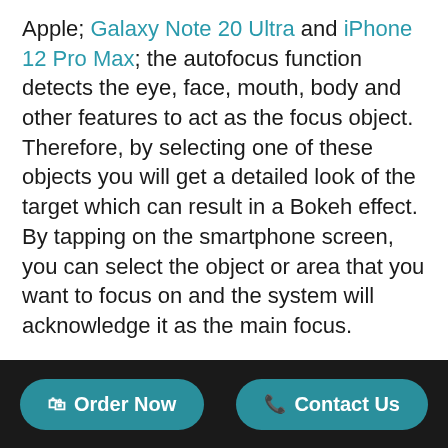Apple; Galaxy Note 20 Ultra and iPhone 12 Pro Max; the autofocus function detects the eye, face, mouth, body and other features to act as the focus object. Therefore, by selecting one of these objects you will get a detailed look of the target which can result in a Bokeh effect. By tapping on the smartphone screen, you can select the object or area that you want to focus on and the system will acknowledge it as the main focus.
Use the gridlines as the rule of thirds guidance
Order Now   Contact Us